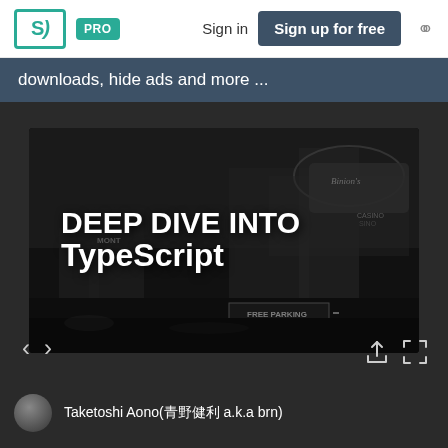SJ PRO  Sign in  Sign up for free
downloads, hide ads and more ...
[Figure (screenshot): Slide presentation viewer showing title slide 'DEEP DIVE INTO TypeScript' with a black and white city background. Navigation arrows and action icons visible.]
Taketoshi Aono(青野健利 a.k.a brn)